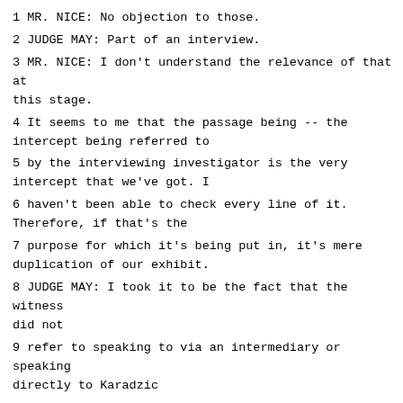1 MR. NICE: No objection to those.
2 JUDGE MAY: Part of an interview.
3 MR. NICE: I don't understand the relevance of that at this stage.
4 It seems to me that the passage being -- the intercept being referred to
5 by the interviewing investigator is the very intercept that we've got. I
6 haven't been able to check every line of it. Therefore, if that's the
7 purpose for which it's being put in, it's mere duplication of our exhibit.
8 JUDGE MAY: I took it to be the fact that the witness did not
9 refer to speaking to via an intermediary or speaking directly to Karadzic
10 and he didn't mention these other two things, and he's given an answer as
11 to why he didn't, so I think technically that's admissible too. What